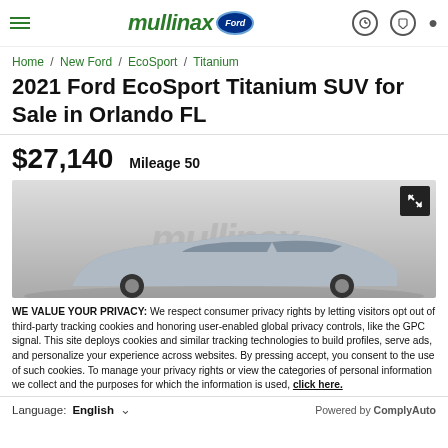mullinax Ford
Home / New Ford / EcoSport / Titanium
2021 Ford EcoSport Titanium SUV for Sale in Orlando FL
$27,140   Mileage 50
[Figure (photo): 2021 Ford EcoSport Titanium SUV shown in silver/gray with mullinax watermark and expand icon]
WE VALUE YOUR PRIVACY: We respect consumer privacy rights by letting visitors opt out of third-party tracking cookies and honoring user-enabled global privacy controls, like the GPC signal. This site deploys cookies and similar tracking technologies to build profiles, serve ads, and personalize your experience across websites. By pressing accept, you consent to the use of such cookies. To manage your privacy rights or view the categories of personal information we collect and the purposes for which the information is used, click here.
Language: English   Powered by ComplyAuto